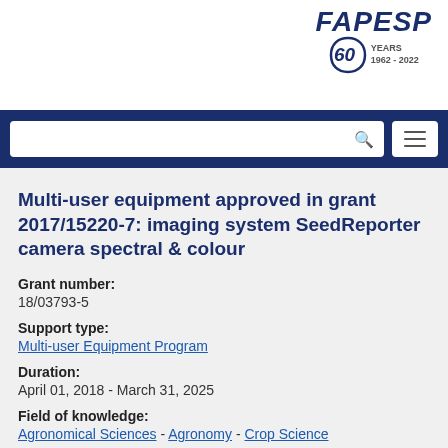[Figure (logo): FAPESP 60 Years logo (1962-2022) with stylized '60' graphic]
[Figure (screenshot): Navigation bar with search box and hamburger menu on dark blue background]
Multi-user equipment approved in grant 2017/15220-7: imaging system SeedReporter camera spectral & colour
Grant number:
18/03793-5
Support type:
Multi-user Equipment Program
Duration:
April 01, 2018 - March 31, 2025
Field of knowledge:
Agronomical Sciences - Agronomy - Crop Science
Principal researcher:
Clíssia Barboza da Silva